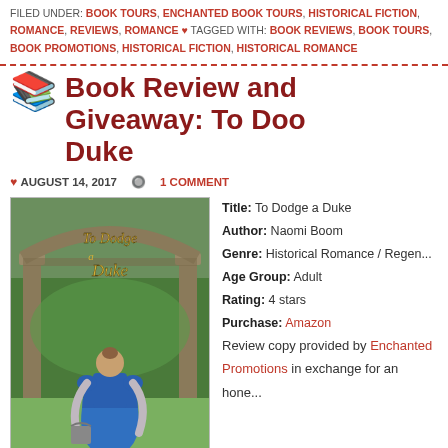FILED UNDER: BOOK TOURS, ENCHANTED BOOK TOURS, HISTORICAL FICTION, ROMANCE, REVIEWS, ROMANCE ♥ TAGGED WITH: BOOK REVIEWS, BOOK TOURS, BOOK PROMOTIONS, HISTORICAL FICTION, HISTORICAL ROMANCE
Book Review and Giveaway: To Dodge a Duke
AUGUST 14, 2017 · 1 COMMENT
[Figure (illustration): Book cover for 'To Dodge a Duke' showing a woman in a blue Regency gown standing near stone columns with a garden background, with golden script title text]
Title: To Dodge a Duke
Author: Naomi Boom
Genre: Historical Romance / Regen...
Age Group: Adult
Rating: 4 stars
Purchase: Amazon
Review copy provided by Enchanted Promotions in exchange for an hone...
When a duke gets a chance to pu... as someone else, he would be a...